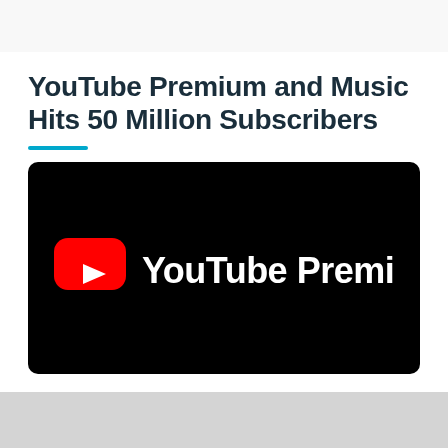YouTube Premium and Music Hits 50 Million Subscribers
[Figure (logo): YouTube Premium logo on black background — red rounded-rectangle play button icon followed by white text 'YouTube Premium']